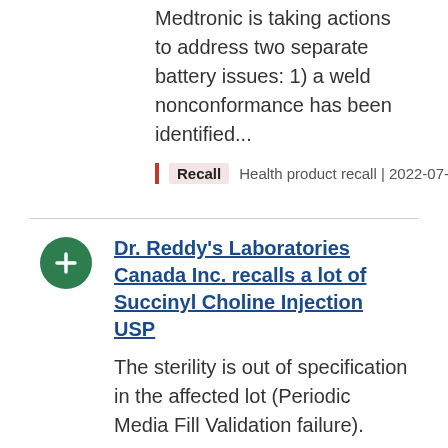Medtronic is taking actions to address two separate battery issues: 1) a weld nonconformance has been identified...
Recall  Health product recall | 2022-07-04
Dr. Reddy's Laboratories Canada Inc. recalls a lot of Succinyl Choline Injection USP
The sterility is out of specification in the affected lot (Periodic Media Fill Validation failure).
Recall  Health product recall | 2022-06-08